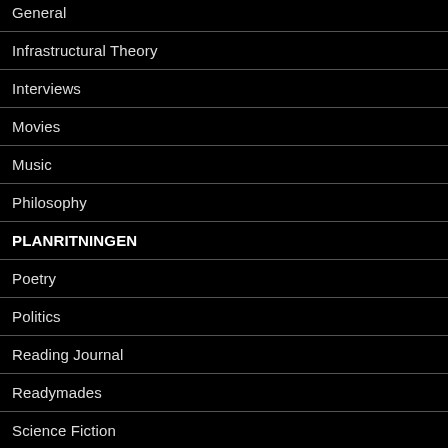General
Infrastructural Theory
Interviews
Movies
Music
Philosophy
PLANRITNINGEN
Poetry
Politics
Reading Journal
Readymades
Science Fiction
Social Theory